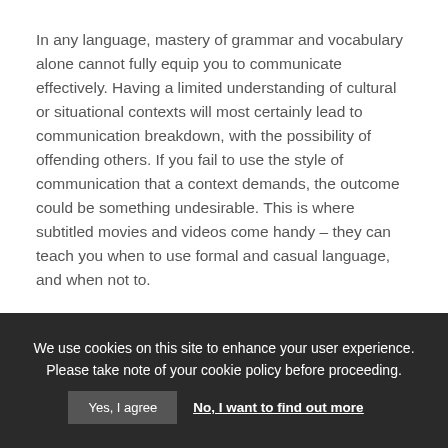In any language, mastery of grammar and vocabulary alone cannot fully equip you to communicate effectively. Having a limited understanding of cultural or situational contexts will most certainly lead to communication breakdown, with the possibility of offending others. If you fail to use the style of communication that a context demands, the outcome could be something undesirable. This is where subtitled movies and videos come handy – they can teach you when to use formal and casual language, and when not to.
9. Controlling your learning experience
Perhaps the greatest benefit of using subtitled content is
We use cookies on this site to enhance your user experience. Please take note of your cookie policy before proceeding.
Yes, I agree
No, I want to find out more